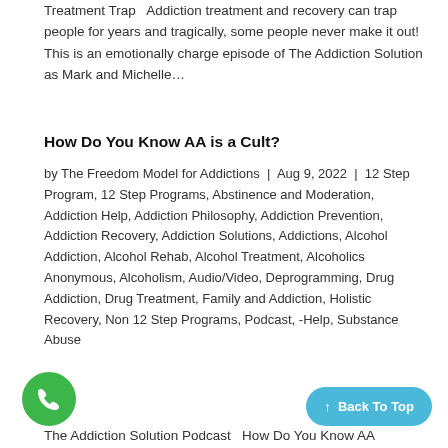Treatment Trap  Addiction treatment and recovery can trap people for years and tragically, some people never make it out! This is an emotionally charge episode of The Addiction Solution as Mark and Michelle…
How Do You Know AA is a Cult?
by The Freedom Model for Addictions | Aug 9, 2022 | 12 Step Program, 12 Step Programs, Abstinence and Moderation, Addiction Help, Addiction Philosophy, Addiction Prevention, Addiction Recovery, Addiction Solutions, Addictions, Alcohol Addiction, Alcohol Rehab, Alcohol Treatment, Alcoholics Anonymous, Alcoholism, Audio/Video, Deprogramming, Drug Addiction, Drug Treatment, Family and Addiction, Holistic Recovery, Non 12 Step Programs, Podcast, -Help, Substance Abuse
The Addiction Solution Podcast  How Do You Know AA